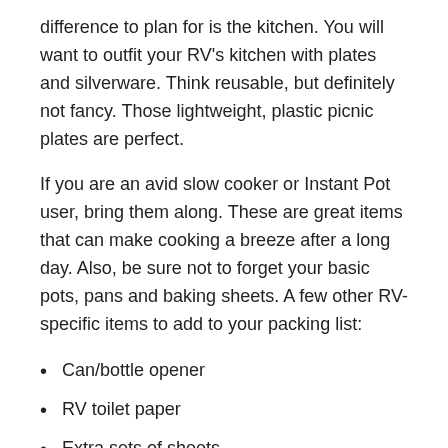difference to plan for is the kitchen. You will want to outfit your RV's kitchen with plates and silverware. Think reusable, but definitely not fancy. Those lightweight, plastic picnic plates are perfect.
If you are an avid slow cooker or Instant Pot user, bring them along. These are great items that can make cooking a breeze after a long day. Also, be sure not to forget your basic pots, pans and baking sheets. A few other RV-specific items to add to your packing list:
Can/bottle opener
RV toilet paper
Extra sets of sheets
Plastic bags
Towels
Trash bags
RV water hose